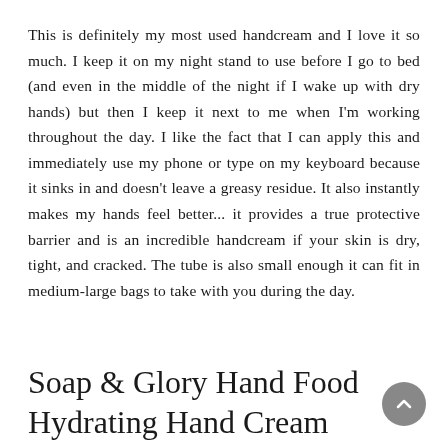This is definitely my most used handcream and I love it so much. I keep it on my night stand to use before I go to bed (and even in the middle of the night if I wake up with dry hands) but then I keep it next to me when I'm working throughout the day. I like the fact that I can apply this and immediately use my phone or type on my keyboard because it sinks in and doesn't leave a greasy residue. It also instantly makes my hands feel better... it provides a true protective barrier and is an incredible handcream if your skin is dry, tight, and cracked. The tube is also small enough it can fit in medium-large bags to take with you during the day.
Soap & Glory Hand Food Hydrating Hand Cream